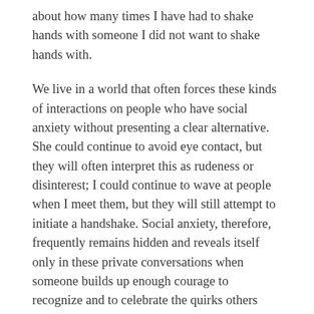about how many times I have had to shake hands with someone I did not want to shake hands with.
We live in a world that often forces these kinds of interactions on people who have social anxiety without presenting a clear alternative. She could continue to avoid eye contact, but they will often interpret this as rudeness or disinterest; I could continue to wave at people when I meet them, but they will still attempt to initiate a handshake. Social anxiety, therefore, frequently remains hidden and reveals itself only in these private conversations when someone builds up enough courage to recognize and to celebrate the quirks others would deem as inconveniences.